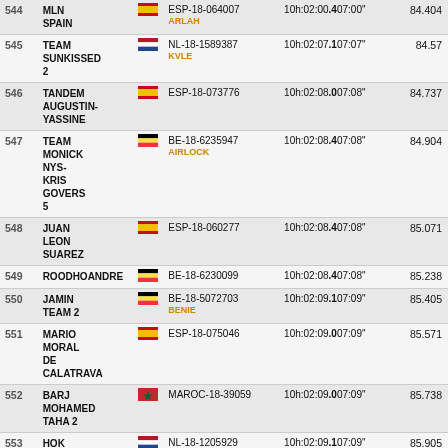| # | Name | Flag | Ring ID | Time | Score |
| --- | --- | --- | --- | --- | --- |
| 544 | MLN SPAIN | ESP | ESP-18-064007 / ARLAH | 10h:02:00.4 / 07:00" | 84.404 |
| 545 | TEAM SUNKISSED 2 | NL | NL-18-1589387 / KVLE | 10h:02:07.1 / 07:07" | 84.57 |
| 546 | TANDEM AUGUSTIN-YASSINE | ESP | ESP-18-073776 | 10h:02:08.0 / 07:08" | 84.737 |
| 547 | TEAM MONICK NYS-KRIS GOVERS 5 | BE | BE-18-6235947 / AIRLOCK | 10h:02:08.4 / 07:08" | 84.904 |
| 548 | JUAN LEON SUAREZ | ESP | ESP-18-060277 | 10h:02:08.4 / 07:08" | 85.071 |
| 549 | ROODHOOFT ANDRE | BE | BE-18-6230099 | 10h:02:08.4 / 07:08" | 85.238 |
| 550 | JAMIN TEAM 2 | BE | BE-18-5072703 / BENIE | 10h:02:09.1 / 07:09" | 85.405 |
| 551 | MARIO MORAL DE CALATRAVA | ESP | ESP-18-075046 | 10h:02:09.0 / 07:09" | 85.571 |
| 552 | BARJ MOHAMED TAHA 2 | MA | MAROC-18-39059 | 10h:02:09.0 / 07:09" | 85.738 |
| 553 | HOK | NL | NL-18-1205929 | 10h:02:09.1 / 07:09" | 85.905 |